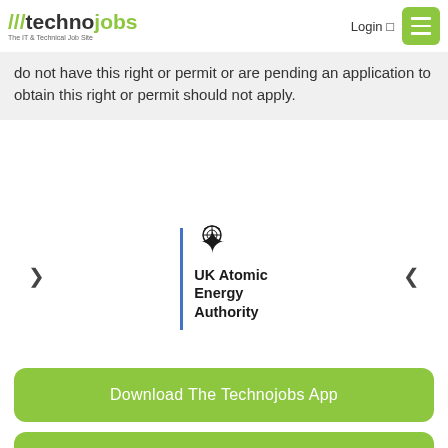///technojobs — The IT & Technical Job Site | Login | Menu
do not have this right or permit or are pending an application to obtain this right or permit should not apply.
[Figure (logo): UK Atomic Energy Authority logo with blue vertical bar, royal crest emblem, and text 'UK Atomic Energy Authority']
Download The Technojobs App
Advertise a Job